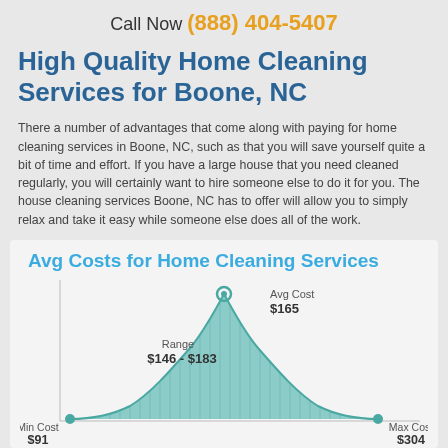Call Now (888) 404-5407
High Quality Home Cleaning Services for Boone, NC
There a number of advantages that come along with paying for home cleaning services in Boone, NC, such as that you will save yourself quite a bit of time and effort. If you have a large house that you need cleaned regularly, you will certainly want to hire someone else to do it for you. The house cleaning services Boone, NC has to offer will allow you to simply relax and take it easy while someone else does all of the work.
[Figure (continuous-plot): Bell curve distribution chart showing average home cleaning service costs. Min Cost $91, Max Cost $304, Range $146-$183, Avg Cost $165 marked at the peak with a circle marker.]